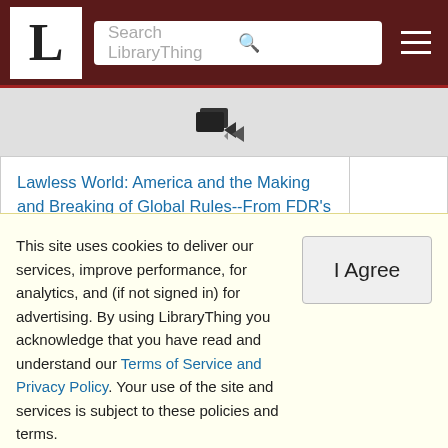LibraryThing - Search LibraryThing
[Figure (logo): LibraryThing book import icon with stacked books and arrow]
| Book |  |
| --- | --- |
| Lawless World: America and the Making and Breaking of Global Rules--From FDR's Atlantic Charter to George W. Bush's Ille by Philippe Sands |  |
| Leadership: In Turbulent Times by Doris Kearns Goodwin |  |
| Leadership: Past, Present & Future by Carlos Rivera |  |
| [partially visible row] |  |
This site uses cookies to deliver our services, improve performance, for analytics, and (if not signed in) for advertising. By using LibraryThing you acknowledge that you have read and understand our Terms of Service and Privacy Policy. Your use of the site and services is subject to these policies and terms.